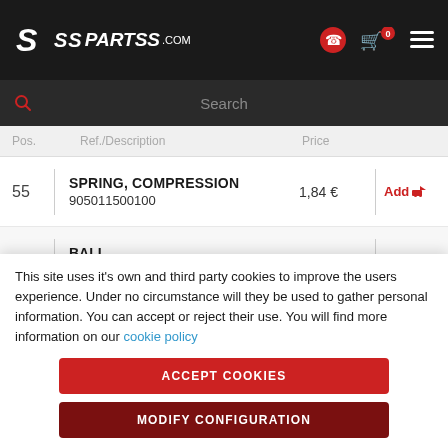PARTSS.COM
| Pos. | Ref./Description | Price |  |
| --- | --- | --- | --- |
| 55 | SPRING, COMPRESSION
905011500100 | 1,84 € | Add |
| 56 | BALL
935010401100 | 0,30 € | Add |
| 57 | WASHER, SPECIAL | 5,76 € | Add |
This site uses it's own and third party cookies to improve the users experience. Under no circumstance will they be used to gather personal information. You can accept or reject their use. You will find more information on our cookie policy
ACCEPT COOKIES
MODIFY CONFIGURATION